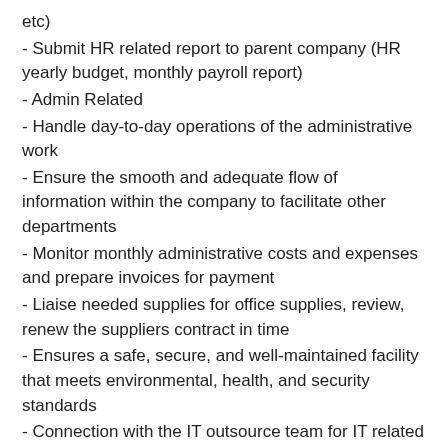etc)
- Submit HR related report to parent company (HR yearly budget, monthly payroll report)
- Admin Related
- Handle day-to-day operations of the administrative work
- Ensure the smooth and adequate flow of information within the company to facilitate other departments
- Monitor monthly administrative costs and expenses and prepare invoices for payment
- Liaise needed supplies for office supplies, review, renew the suppliers contract in time
- Ensures a safe, secure, and well-maintained facility that meets environmental, health, and security standards
- Connection with the IT outsource team for IT related service
- Daily HR/Administrative task as assigned by manager
Job Requirements